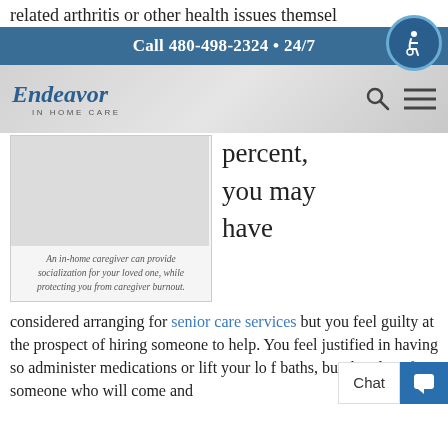related arthritis or other health issues themselves
Call 480-498-2324 • 24/7
[Figure (logo): Endeavor In Home Care logo]
percent, you may have
An in-home caregiver can provide socialization for your loved one, while protecting you from caregiver burnout.
considered arranging for senior care services but you feel guilty at the prospect of hiring someone to help. You feel justified in having so administer medications or lift your lo f baths, but the idea of someone who will come and